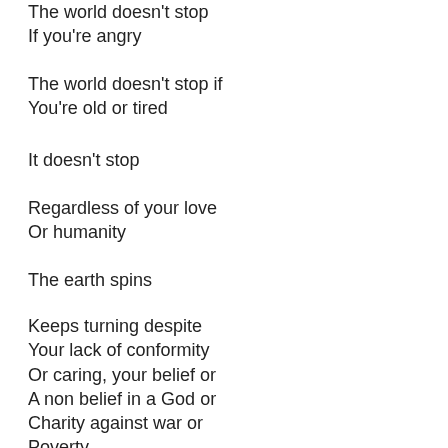The world doesn't stop
If you're angry
The world doesn't stop if
You're old or tired
It doesn't stop
Regardless of your love
Or humanity
The earth spins
Keeps turning despite
Your lack of conformity
Or caring, your belief or
A non belief in a God or
Charity against war or
Poverty